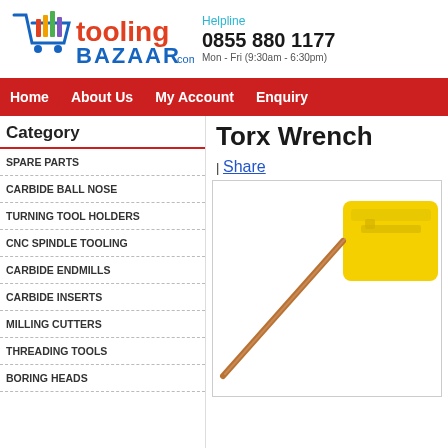[Figure (logo): Tooling Bazaar logo with shopping cart icon and colorful bars]
Helpline
0855 880 1177
Mon - Fri (9:30am - 6:30pm)
Home | About Us | My Account | Enquiry
Category
SPARE PARTS
CARBIDE BALL NOSE
TURNING TOOL HOLDERS
CNC SPINDLE TOOLING
CARBIDE ENDMILLS
CARBIDE INSERTS
MILLING CUTTERS
THREADING TOOLS
BORING HEADS
Torx Wrench
| Share
[Figure (photo): Torx wrench product photo showing a yellow handle and copper/brown metallic shaft]